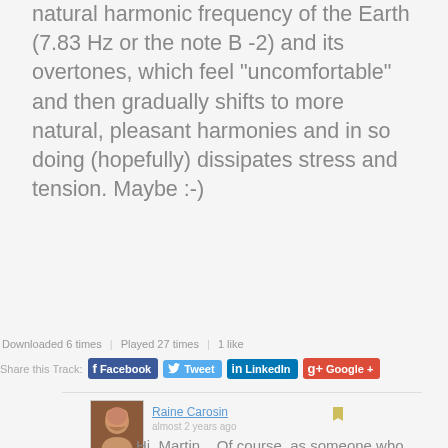natural harmonic frequency of the Earth (7.83 Hz or the note B -2) and its overtones, which feel “uncomfortable” and then gradually shifts to more natural, pleasant harmonies and in so doing (hopefully) dissipates stress and tension. Maybe :-)
Downloaded 6 times | Played 27 times | 1 like
Share this Track: Facebook Tweet LinkedIn Google +
[Figure (photo): Avatar photo of Raine Carosin, a woman with dark hair]
Raine Carosin
almost 2 years ago
Hi, Martin... Of course, as someone who doesn't realise the fullness of your work, I'm listening but not hearing... As I need sound, I'm